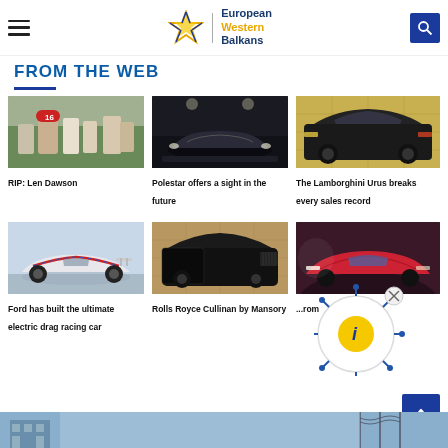European Western Balkans
FROM THE WEB
[Figure (photo): Football players on field, player with number 16]
RIP: Len Dawson
[Figure (photo): Polestar car in dark industrial setting]
Polestar offers a sight in the future
[Figure (photo): Lamborghini Urus SUV in showroom]
The Lamborghini Urus breaks every sales record
[Figure (photo): Electric Ford Mustang drag racing car]
Ford has built the ultimate electric drag racing car
[Figure (photo): Rolls Royce Cullinan by Mansory in black]
Rolls Royce Cullinan by Mansory
[Figure (photo): Red electric car in dramatic lighting]
...rom
[Figure (photo): Building with power lines at bottom of page]